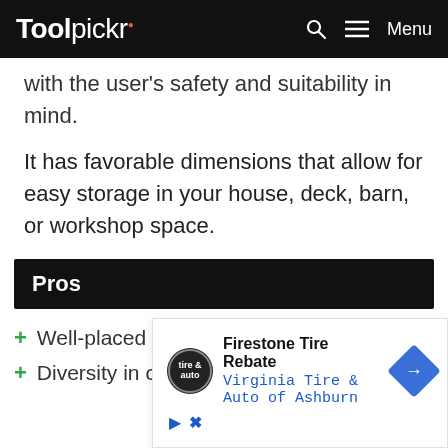Toolpickr  Menu
with the user's safety and suitability in mind.
It has favorable dimensions that allow for easy storage in your house, deck, barn, or workshop space.
Pros
Well-placed on/off switch
Diversity in cutting materials
[Figure (other): Advertisement overlay: Firestone Tire Rebate - Virginia Tire & Auto of Ashburn, with tire logo, blue direction arrow icon, play button and X close icons]